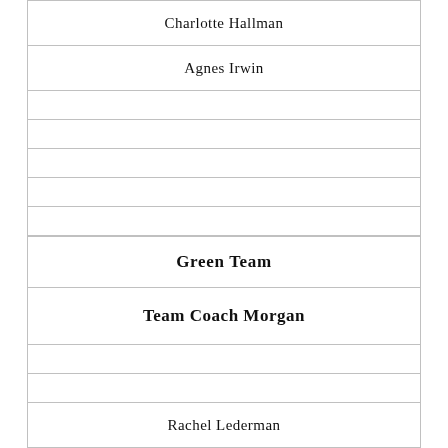| Charlotte Hallman |
| Agnes Irwin |
|  |
|  |
|  |
|  |
|  |
| Green Team |
| Team Coach Morgan |
|  |
|  |
| Rachel Lederman |
| Episcopal Academy |
|  |